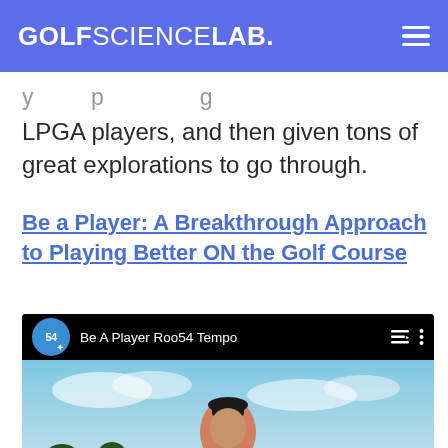GOLF SCIENCE LAB.
y … p … g …
LPGA players, and then given tons of great explorations to go through.
Be a Player: A Breakthrough Approach to Playing Better ON the Golf Course
[Figure (screenshot): YouTube video embed showing 'Be A Player Roo54 Tempo' with channel icon labeled 54, a person standing on a golf course outdoors, and a red YouTube play button overlay at the bottom center.]